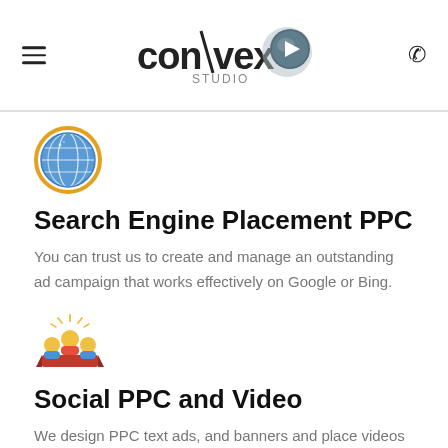Convex Studio
[Figure (illustration): Globe icon with orange border and blue grid pattern representing world/internet]
Search Engine Placement PPC
You can trust us to create and manage an outstanding ad campaign that works effectively on Google or Bing.
[Figure (illustration): People/audience icon with red banner/ribbon representing social media audience]
Social PPC and Video
We design PPC text ads, and banners and place videos on social media platforms such as Instagram, TikTok,